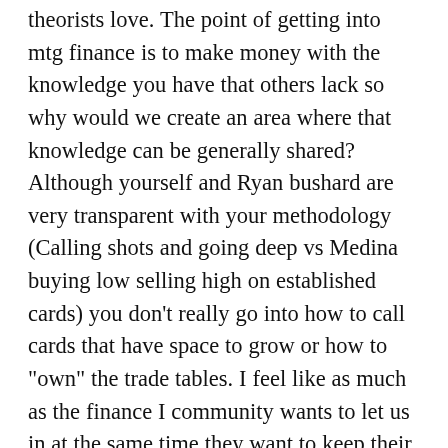theorists love. The point of getting into mtg finance is to make money with the knowledge you have that others lack so why would we create an area where that knowledge can be generally shared? Although yourself and Ryan bushard are very transparent with your methodology (Calling shots and going deep vs Medina buying low selling high on established cards) you don't really go into how to call cards that have space to grow or how to "own" the trade tables. I feel like as much as the finance I community wants to let us in at the same time they want to keep their knowledge to themselves. I just feel like intricate knowledge of mtg finance takes years to ascertain and allowing people that might never travel outside of their kitchen table drive a financial discussion isn't the